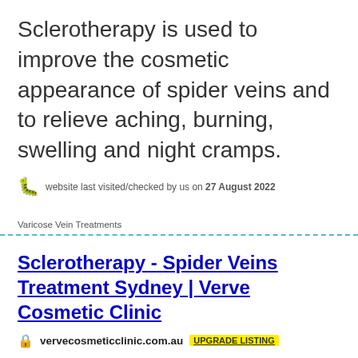Sclerotherapy is used to improve the cosmetic appearance of spider veins and to relieve aching, burning, swelling and night cramps.
website last visited/checked by us on 27 August 2022
Varicose Vein Treatments
Sclerotherapy - Spider Veins Treatment Sydney | Verve Cosmetic Clinic
vervecosmeticclinic.com.au UPGRADE LISTING
Eliminate varicose veins and spider veins with Sclerotherapy. Here at Verve Cosmetic Clinic, we recommend Sclerotherapy for more advanced cases of spider veins on the legs. To